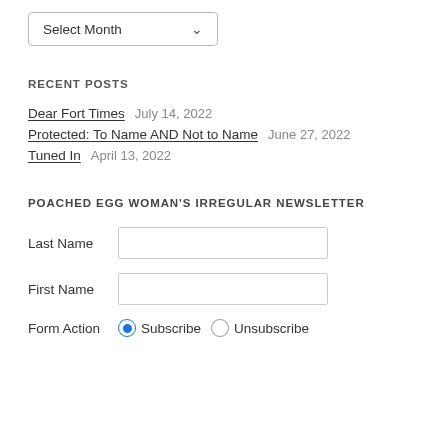Select Month
RECENT POSTS
Dear Fort Times   July 14, 2022
Protected: To Name AND Not to Name   June 27, 2022
Tuned In   April 13, 2022
POACHED EGG WOMAN'S IRREGULAR NEWSLETTER
Last Name
First Name
Form Action   Subscribe   Unsubscribe